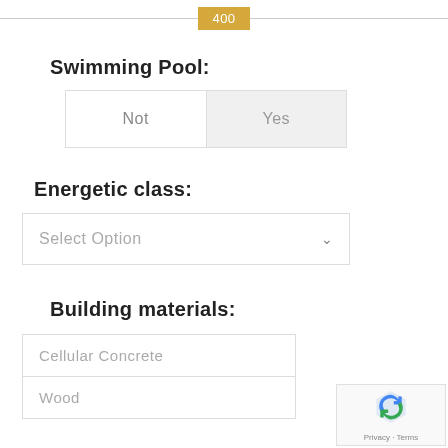400
Swimming Pool:
Not   Yes
Energetic class:
Select Option
Building materials:
Cellular Concrete
Wood
[Figure (logo): Google reCAPTCHA badge with recycling arrow logo, Privacy and Terms links]